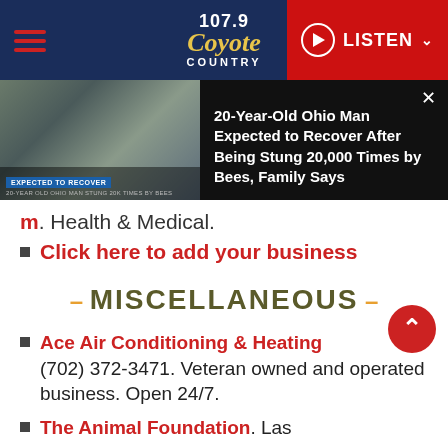107.9 Coyote Country | LISTEN
[Figure (screenshot): News card showing a man in a hospital bed with oxygen mask. Headline: 20-Year-Old Ohio Man Expected to Recover After Being Stung 20,000 Times by Bees, Family Says. Badge reads EXPECTED TO RECOVER / 20-YEAR OLD OHIO MAN STUNG 20K TIMES BY BEES]
m. Health & Medical.
Click here to add your business
– MISCELLANEOUS –
Ace Air Conditioning & Heating (702) 372-3471. Veteran owned and operated business. Open 24/7.
The Animal Foundation. Las